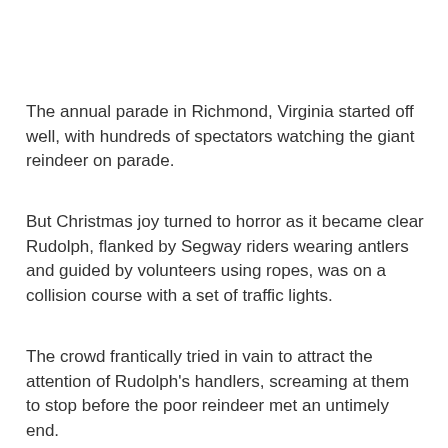The annual parade in Richmond, Virginia started off well, with hundreds of spectators watching the giant reindeer on parade.
But Christmas joy turned to horror as it became clear Rudolph, flanked by Segway riders wearing antlers and guided by volunteers using ropes, was on a collision course with a set of traffic lights.
The crowd frantically tried in vain to attract the attention of Rudolph's handlers, screaming at them to stop before the poor reindeer met an untimely end.
But, alas, it was too late.
Rudolph's famous red nose hit the lights first, but Santa's trusty steed was at first unharmed.
But as the handlers attempted to steer him to safety, the reindeer's head was impaled on the traffic lights.